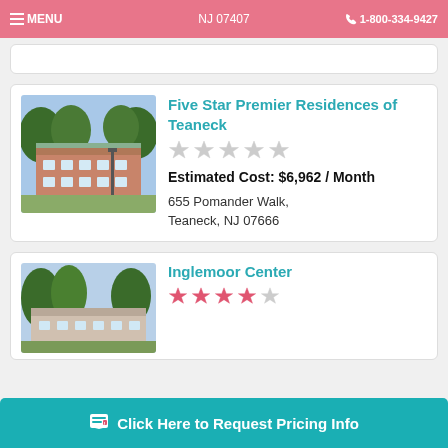MENU   NJ 07407   1-800-334-9427
NJ 07407
[Figure (photo): Exterior photo of Five Star Premier Residences of Teaneck building with trees]
Five Star Premier Residences of Teaneck
Estimated Cost: $6,962 / Month
655 Pomander Walk, Teaneck, NJ 07666
[Figure (photo): Exterior photo of Inglemoor Center building with trees]
Inglemoor Center
Click Here to Request Pricing Info